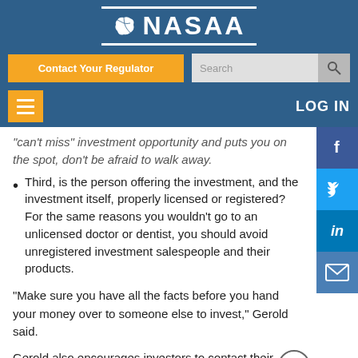[Figure (logo): NASAA logo with North America map icon and white text on blue background with white border lines]
Contact Your Regulator | Search | LOG IN
"can't miss" investment opportunity and puts you on the spot, don't be afraid to walk away.
Third, is the person offering the investment, and the investment itself, properly licensed or registered? For the same reasons you wouldn't go to an unlicensed doctor or dentist, you should avoid unregistered investment salespeople and their products.
“Make sure you have all the facts before you hand your money over to someone else to invest,” Gerold said.
Gerold also encourages investors to contact their state